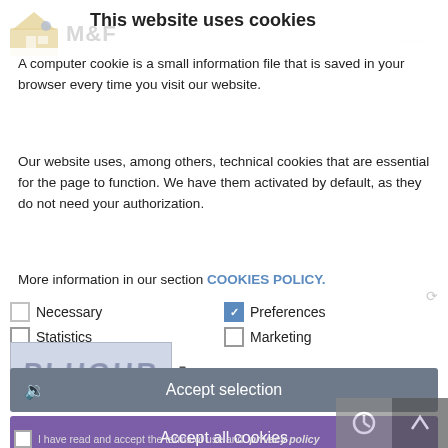M&F
This website uses cookies
A computer cookie is a small information file that is saved in your browser every time you visit our website.
Our website uses, among others, technical cookies that are essential for the page to function. We have them activated by default, as they do not need your authorization.
More information in our section COOKIES POLICY.
Necessary
Preferences
Statistics
Marketing
Please insert the code
Accept selection
I have read and accept the terms of use and privacy policy
Accept all cookies
Setting